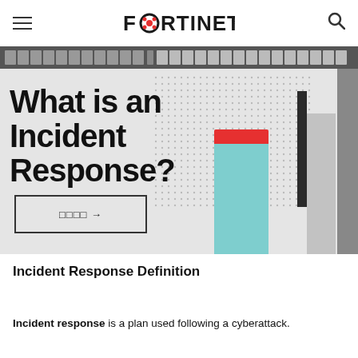FORTINET
[Figure (illustration): Fortinet website hero banner with decorative bar chart shapes in teal and red, dot pattern background, and title 'What is an Incident Response?']
What is an Incident Response?
□□□□ →
Incident Response Definition
Incident response is a plan used following a cyberattack.